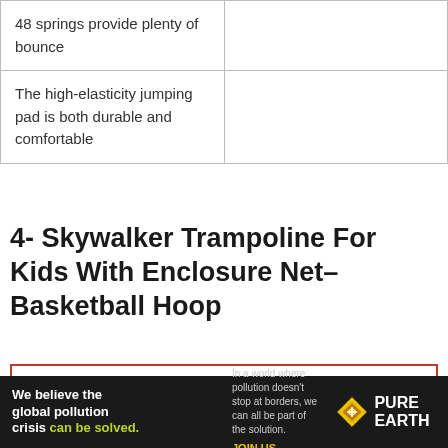| 48 springs provide plenty of bounce |  |
| The high-elasticity jumping pad is both durable and comfortable |  |
4- Skywalker Trampoline For Kids With Enclosure Net–Basketball Hoop
[Figure (photo): Red-bordered product image box (partially visible at bottom of page)]
[Figure (infographic): Advertisement banner: Pure Earth pollution awareness ad with green/yellow text on dark background]